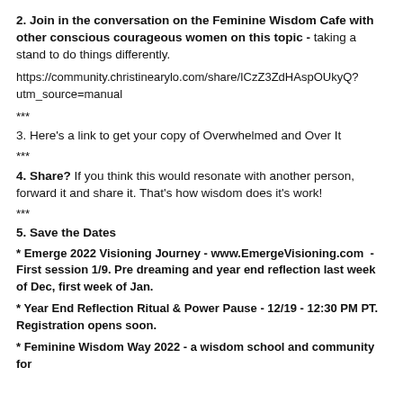2. Join in the conversation on the Feminine Wisdom Cafe with other conscious courageous women on this topic - taking a stand to do things differently.
https://community.christinearylo.com/share/ICzZ3ZdHAspOUkyQ?utm_source=manual
***
3. Here's a link to get your copy of Overwhelmed and Over It
***
4. Share? If you think this would resonate with another person, forward it and share it. That's how wisdom does it's work!
***
5. Save the Dates
* Emerge 2022 Visioning Journey - www.EmergeVisioning.com - First session 1/9. Pre dreaming and year end reflection last week of Dec, first week of Jan.
* Year End Reflection Ritual & Power Pause - 12/19 - 12:30 PM PT. Registration opens soon.
* Feminine Wisdom Way 2022 - a wisdom school and community for